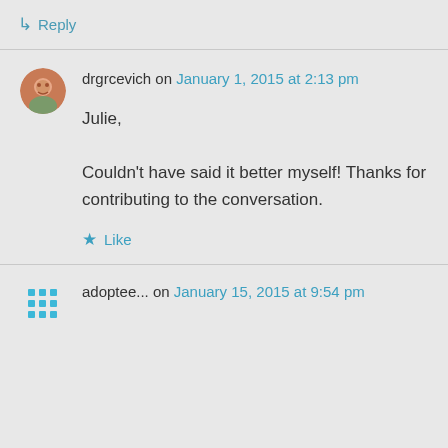↳ Reply
drgrcevich on January 1, 2015 at 2:13 pm
Julie,

Couldn't have said it better myself! Thanks for contributing to the conversation.
Like
adoptee... on January 15, 2015 at 9:54 pm